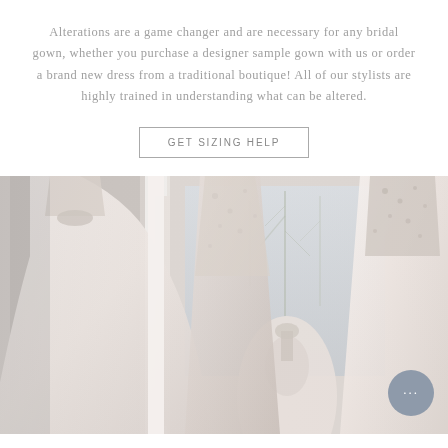Alterations are a game changer and are necessary for any bridal gown, whether you purchase a designer sample gown with us or order a brand new dress from a traditional boutique! All of our stylists are highly trained in understanding what can be altered.
GET SIZING HELP
[Figure (photo): Photo of a bridal boutique interior showing wedding gowns hanging on a rack in the foreground with lace and embellished details, and a mannequin wearing a full ballgown near a large window in the background. The lighting is soft and airy with a white and blush color palette. A chat widget bubble with ellipsis is visible in the bottom right corner.]